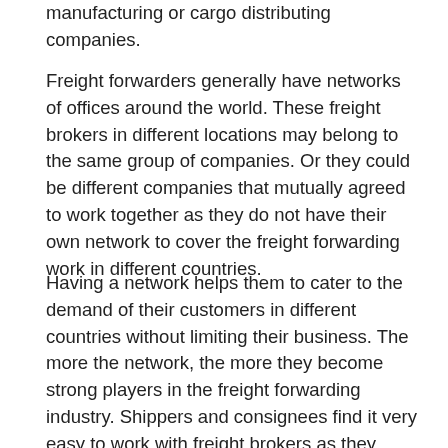manufacturing or cargo distributing companies.
Freight forwarders generally have networks of offices around the world. These freight brokers in different locations may belong to the same group of companies. Or they could be different companies that mutually agreed to work together as they do not have their own network to cover the freight forwarding work in different countries.
Having a network helps them to cater to the demand of their customers in different countries without limiting their business. The more the network, the more they become strong players in the freight forwarding industry. Shippers and consignees find it very easy to work with freight brokers as they have a network of agencies in